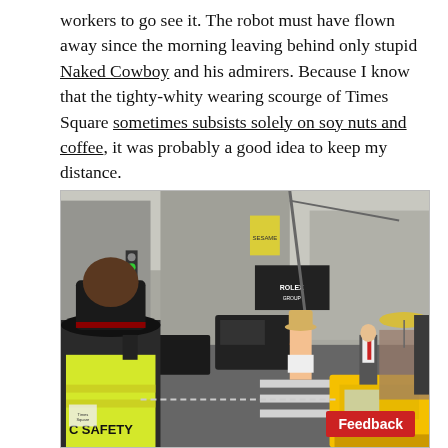workers to go see it. The robot must have flown away since the morning leaving behind only stupid Naked Cowboy and his admirers. Because I know that the tighty-whity wearing scourge of Times Square sometimes subsists solely on soy nuts and coffee, it was probably a good idea to keep my distance.
[Figure (photo): Street scene in Times Square, New York City. In the foreground, a person wearing a yellow safety vest labeled 'C SAFETY' and a black hat is visible from behind, holding something to their ear. A yellow taxi cab is on the right. In the middle distance, a person in white underwear and a cowboy hat (the Naked Cowboy) stands in the street. A businessman in a suit walks across a crosswalk. Various buildings, buses, cones, and crowds are visible in the background. A red 'Feedback' button overlays the bottom right of the image.]